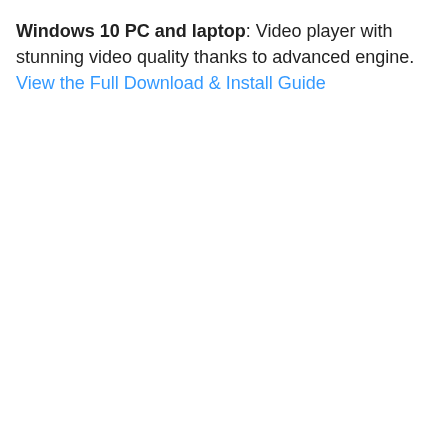Windows 10 PC and laptop: Video player with stunning video quality thanks to advanced engine. View the Full Download & Install Guide